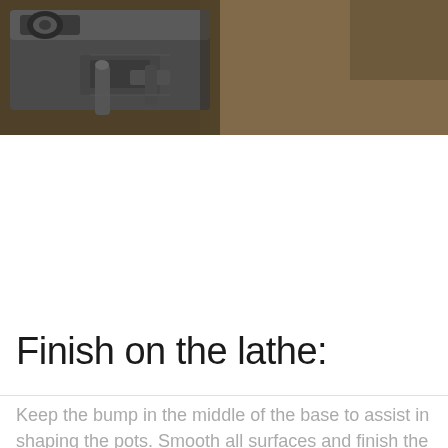[Figure (photo): Close-up photo of lathe machinery parts, showing metal clamps and turning components against a brown/tan background. The image is cropped showing the upper portion of the lathe setup.]
Finish on the lathe:
Keep the bump in the middle of the base to assist in shaping the pots. Smooth all surfaces and finish the same